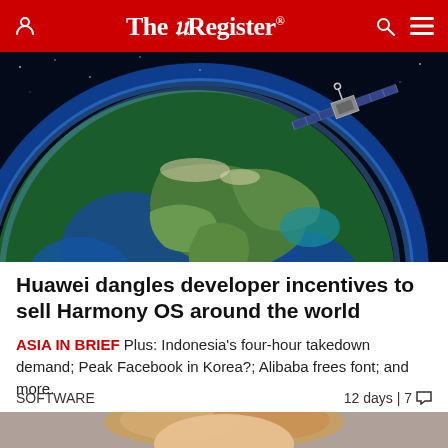The Register
[Figure (photo): Globe showing Asia/Earth from space with a satellite in the upper right, set against a dark blue space background with a glowing blue atmosphere rim.]
Huawei dangles developer incentives to sell Harmony OS around the world
ASIA IN BRIEF Plus: Indonesia's four-hour takedown demand; Peak Facebook in Korea?; Alibaba frees font; and more.
SOFTWARE  12 days | 7
[Figure (photo): Partial view of a person with blonde hair, cropped at the bottom of the page.]